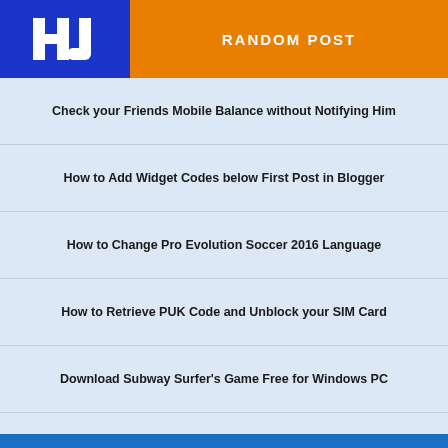RANDOM POST
Check your Friends Mobile Balance without Notifying Him
How to Add Widget Codes below First Post in Blogger
How to Change Pro Evolution Soccer 2016 Language
How to Retrieve PUK Code and Unblock your SIM Card
Download Subway Surfer's Game Free for Windows PC
How to Play PS3 Games on Windows PC with PS3 Emulator